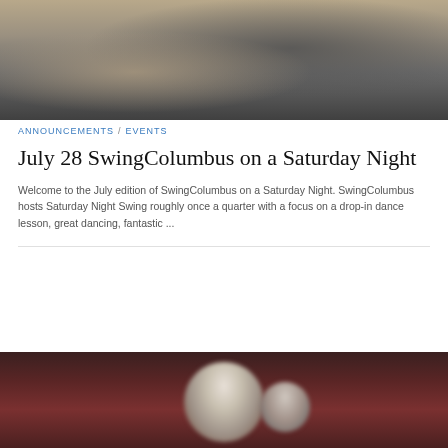[Figure (photo): Two people dancing swing dance, partially cropped, warm floor background]
ANNOUNCEMENTS / EVENTS
July 28 SwingColumbus on a Saturday Night
Welcome to the July edition of SwingColumbus on a Saturday Night. SwingColumbus hosts Saturday Night Swing roughly once a quarter with a focus on a drop-in dance lesson, great dancing, fantastic ...
[Figure (photo): Two people on a dark red background, heads visible, blurred]